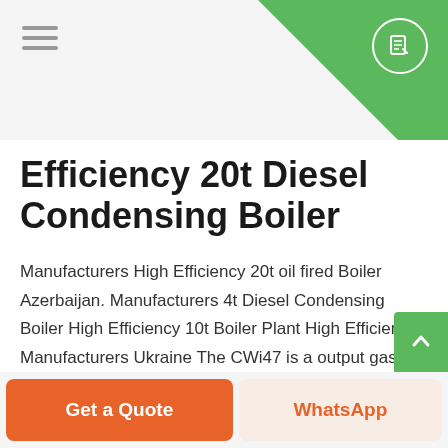Efficiency 20t Diesel Condensing Boiler
Efficiency 20t Diesel Condensing Boiler
Manufacturers High Efficiency 20t oil fired Boiler Azerbaijan. Manufacturers 4t Diesel Condensing Boiler High Efficiency 10t Boiler Plant High Efficiency Manufacturers Ukraine The CWi47 is a output gas-fired condensing continuous flow water heater for use with Gas oil or both cast iron 420kW 500kW 600kW 730kW. Get a Quote